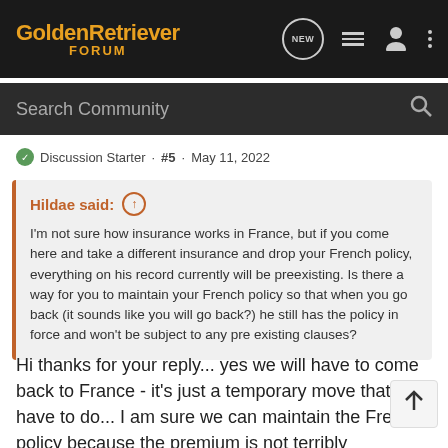[Figure (screenshot): GoldenRetriever Forum navigation bar with logo, search bar, and icons]
Discussion Starter · #5 · May 11, 2022
Hildae said: ↑
I'm not sure how insurance works in France, but if you come here and take a different insurance and drop your French policy, everything on his record currently will be preexisting. Is there a way for you to maintain your French policy so that when you go back (it sounds like you will go back?) he still has the policy in force and won't be subject to any pre existing clauses?
Hi thanks for your reply... yes we will have to come back to France - it's just a temporary move that we have to do... I am sure we can maintain the French policy because the premium is not terribly expensive anyway - the french one does cover for